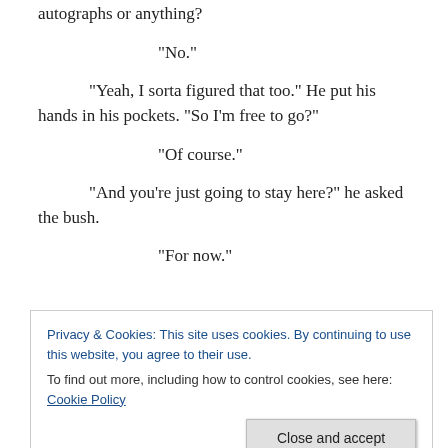autographs or anything?
“No.”
“Yeah, I sorta figured that too.” He put his hands in his pockets. “So I’m free to go?”
“Of course.”
“And you’re just going to stay here?” he asked the bush.
“For now.”
Privacy & Cookies: This site uses cookies. By continuing to use this website, you agree to their use.
To find out more, including how to control cookies, see here: Cookie Policy
Close and accept
just a bush? Or will the whole bush be gone? Stupid